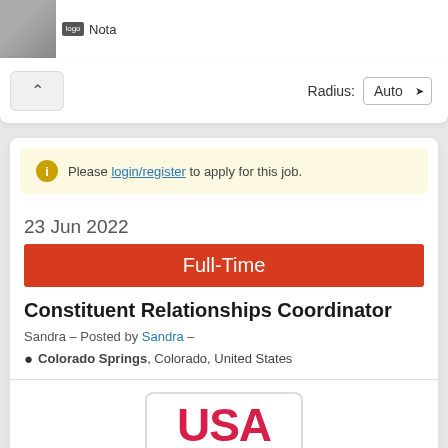[Figure (photo): Person photo thumbnail at top left]
Nota
Radius: Auto
Please login/register to apply for this job.
23 Jun 2022
Full-Time
Constituent Relationships Coordinator
Sandra – Posted by Sandra –
Colorado Springs, Colorado, United States
[Figure (logo): USA logo in red bold text]